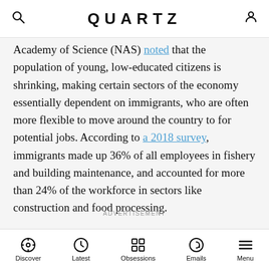QUARTZ
Academy of Science (NAS) noted that the population of young, low-educated citizens is shrinking, making certain sectors of the economy essentially dependent on immigrants, who are often more flexible to move around the country to for potential jobs. According to a 2018 survey, immigrants made up 36% of all employees in fishery and building maintenance, and accounted for more than 24% of the workforce in sectors like construction and food processing.
ADVERTISEMENT
Discover | Latest | Obsessions | Emails | Menu